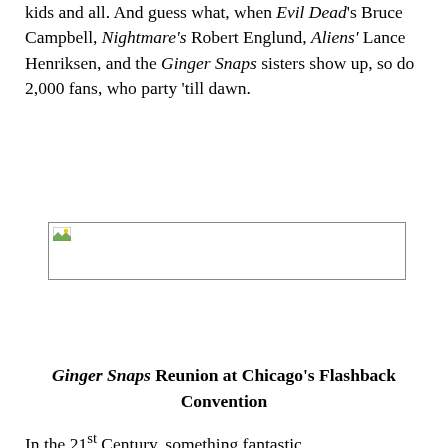kids and all. And guess what, when Evil Dead's Bruce Campbell, Nightmare's Robert Englund, Aliens' Lance Henriksen, and the Ginger Snaps sisters show up, so do 2,000 fans, who party 'till dawn.
[Figure (photo): A broken/missing image placeholder rectangle with a small image icon in the upper-left corner]
Ginger Snaps Reunion at Chicago's Flashback Convention
In the 21st Century, something fantastic...